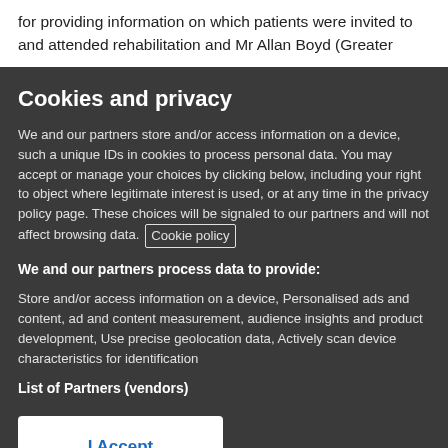for providing information on which patients were invited to and attended rehabilitation and Mr Allan Boyd (Greater
Cookies and privacy
We and our partners store and/or access information on a device, such a unique IDs in cookies to process personal data. You may accept or manage your choices by clicking below, including your right to object where legitimate interest is used, or at any time in the privacy policy page. These choices will be signaled to our partners and will not affect browsing data. Cookie policy
We and our partners process data to provide:
Store and/or access information on a device, Personalised ads and content, ad and content measurement, audience insights and product development, Use precise geolocation data, Actively scan device characteristics for identification
List of Partners (vendors)
I Accept